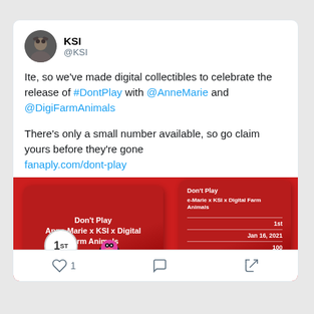KSI
@KSI
Ite, so we've made digital collectibles to celebrate the release of #DontPlay with @AnneMarie and @DigiFarmAnimals
There's only a small number available, so go claim yours before they're gone
fanaply.com/dont-play
[Figure (screenshot): Red digital collectible cards for Don't Play by Anne-Marie x KSI x Digital Farm Animals, showing 1st edition, Jan 16 2021, 100 limited]
1 (like) | comment | share